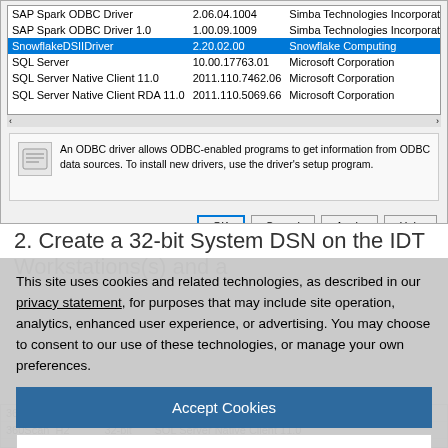[Figure (screenshot): ODBC Data Source Administrator dialog showing a list of ODBC drivers including SAP Spark ODBC Driver, SnowflakeDSIIDriver (selected/highlighted), SQL Server, SQL Server Native Client 11.0, SQL Server Native Client RDA 11.0. Below the list is an info box explaining that an ODBC driver allows ODBC-enabled programs to get information from ODBC data sources. Buttons at bottom: OK, Cancel, Apply, Help.]
2. Create a 32-bit System DSN on the IDT Workstations(s) and a
This site uses cookies and related technologies, as described in our privacy statement, for purposes that may include site operation, analytics, enhanced user experience, or advertising. You may choose to consent to our use of these technologies, or manage your own preferences.
Accept Cookies
More Information
Privacy Policy | Powered by: TrustArc
[Figure (screenshot): Bottom peek of another table/dialog showing rows: 360Eyes (64-bit, SQL Server Native Client 11.0, Comgum...) and 360Scan_H2 (32-bit, SQL Server Native Client 11.0)]